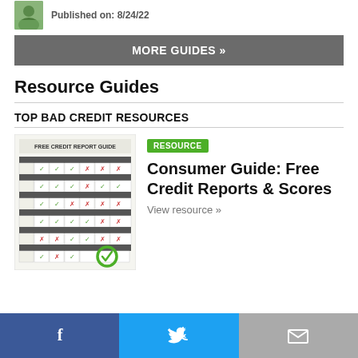Published on: 8/24/22
MORE GUIDES »
Resource Guides
TOP BAD CREDIT RESOURCES
[Figure (illustration): Free Credit Report Guide illustration showing a chart with checkmarks and X marks in rows]
RESOURCE
Consumer Guide: Free Credit Reports & Scores
View resource »